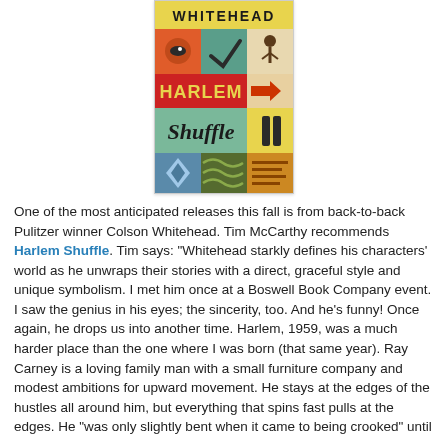[Figure (illustration): Book cover of 'Harlem Shuffle' by Colson Whitehead. Colorful pop-art style cover with the author name WHITEHEAD at top, HARLEM in bold yellow on red background, 'Shuffle' in black cursive script, with various illustrated vignettes in a grid layout.]
One of the most anticipated releases this fall is from back-to-back Pulitzer winner Colson Whitehead. Tim McCarthy recommends Harlem Shuffle. Tim says: "Whitehead starkly defines his characters' world as he unwraps their stories with a direct, graceful style and unique symbolism. I met him once at a Boswell Book Company event. I saw the genius in his eyes; the sincerity, too. And he's funny! Once again, he drops us into another time. Harlem, 1959, was a much harder place than the one where I was born (that same year). Ray Carney is a loving family man with a small furniture company and modest ambitions for upward movement. He stays at the edges of the hustles all around him, but everything that spins fast pulls at the edges. He "was only slightly bent when it came to being crooked" until